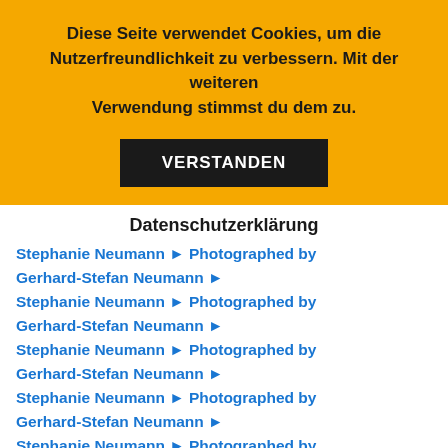Diese Seite verwendet Cookies, um die Nutzerfreundlichkeit zu verbessern. Mit der weiteren Verwendung stimmst du dem zu.
VERSTANDEN
Datenschutzerklärung
Stephanie Neumann ► Photographed by Gerhard-Stefan Neumann ►
Stephanie Neumann ► Photographed by Gerhard-Stefan Neumann ►
Stephanie Neumann ► Photographed by Gerhard-Stefan Neumann ►
Stephanie Neumann ► Photographed by Gerhard-Stefan Neumann ►
Stephanie Neumann ► Photographed by